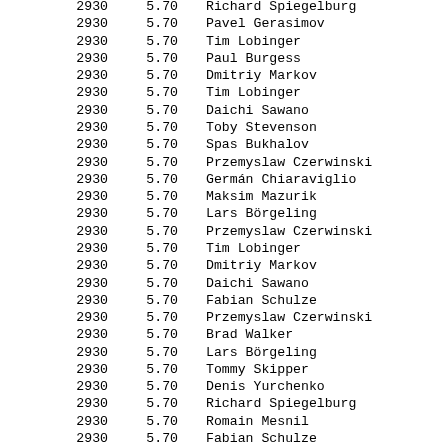| 2930 | 5.70 | Richard Spiegelburg |
| 2930 | 5.70 | Pavel Gerasimov |
| 2930 | 5.70 | Tim Lobinger |
| 2930 | 5.70 | Paul Burgess |
| 2930 | 5.70 | Dmitriy Markov |
| 2930 | 5.70 | Tim Lobinger |
| 2930 | 5.70 | Daichi Sawano |
| 2930 | 5.70 | Toby Stevenson |
| 2930 | 5.70 | Spas Bukhalov |
| 2930 | 5.70 | Przemyslaw Czerwinski |
| 2930 | 5.70 | Germán Chiaraviglio |
| 2930 | 5.70 | Maksim Mazurik |
| 2930 | 5.70 | Lars Börgeling |
| 2930 | 5.70 | Przemyslaw Czerwinski |
| 2930 | 5.70 | Tim Lobinger |
| 2930 | 5.70 | Dmitriy Markov |
| 2930 | 5.70 | Daichi Sawano |
| 2930 | 5.70 | Fabian Schulze |
| 2930 | 5.70 | Przemyslaw Czerwinski |
| 2930 | 5.70 | Brad Walker |
| 2930 | 5.70 | Lars Börgeling |
| 2930 | 5.70 | Tommy Skipper |
| 2930 | 5.70 | Denis Yurchenko |
| 2930 | 5.70 | Richard Spiegelburg |
| 2930 | 5.70 | Romain Mesnil |
| 2930 | 5.70 | Fabian Schulze |
| 2930 | 5.70 | Alhaji Jeng |
| 2930 | 5.70 | Danny Ecker |
| 2930 | 5.70 | Romain Mesnil |
| 2930 | 5.70 | Toby Stevenson |
| 2930 | 5.70 | Spas Bukhalov |